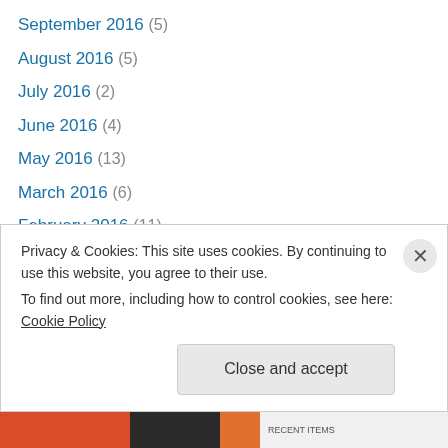September 2016 (5)
August 2016 (5)
July 2016 (2)
June 2016 (4)
May 2016 (13)
March 2016 (6)
February 2016 (11)
January 2016 (7)
December 2015 (3)
November 2015 (1)
October 2015 (2)
September 2015 (1)
August 2015 (2)
Privacy & Cookies: This site uses cookies. By continuing to use this website, you agree to their use. To find out more, including how to control cookies, see here: Cookie Policy